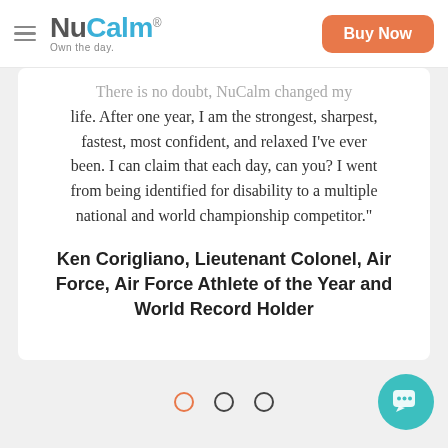NuCalm · Own the day. | Buy Now
There is no doubt, NuCalm changed my life. After one year, I am the strongest, sharpest, fastest, most confident, and relaxed I've ever been. I can claim that each day, can you? I went from being identified for disability to a multiple national and world championship competitor."
Ken Corigliano, Lieutenant Colonel, Air Force, Air Force Athlete of the Year and World Record Holder